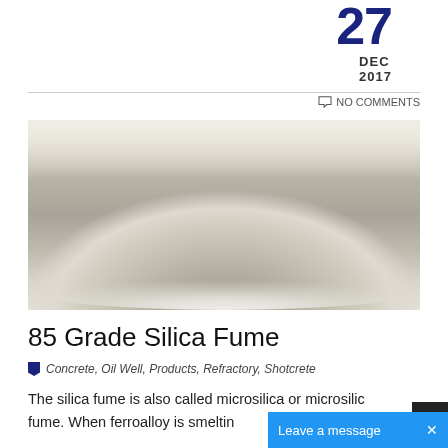27
DEC 2017
NO COMMENTS
[Figure (photo): A pile of grey silica fume powder heaped on a white plate, photographed from the side showing a mound shape]
85 Grade Silica Fume
Concrete, Oil Well, Products, Refractory, Shotcrete
The silica fume is also called microsilica or microsilica fume. When ferroalloy is smeltin
Leave a message ×